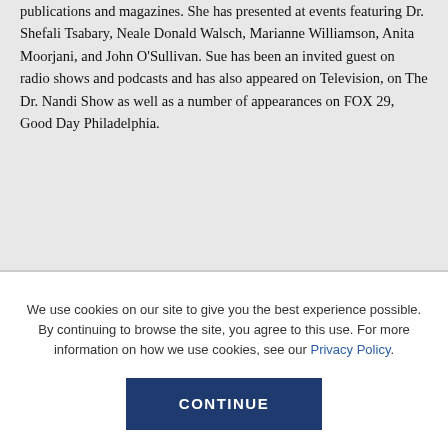publications and magazines. She has presented at events featuring Dr. Shefali Tsabary, Neale Donald Walsch, Marianne Williamson, Anita Moorjani, and John O'Sullivan. Sue has been an invited guest on radio shows and podcasts and has also appeared on Television, on The Dr. Nandi Show as well as a number of appearances on FOX 29, Good Day Philadelphia.
We use cookies on our site to give you the best experience possible. By continuing to browse the site, you agree to this use. For more information on how we use cookies, see our Privacy Policy.
CONTINUE